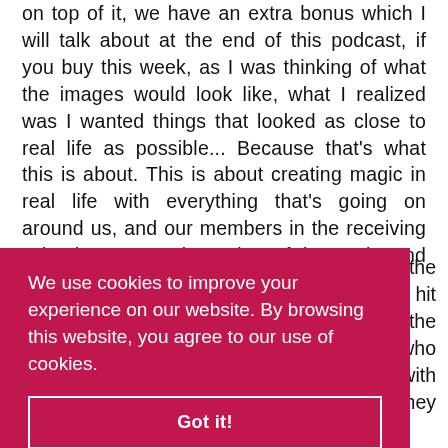on top of it, we have an extra bonus which I will talk about at the end of this podcast, if you buy this week, as I was thinking of what the images would look like, what I realized was I wanted things that looked as close to real life as possible... Because that's what this is about. This is about creating magic in real life with everything that's going on around us, and our members in the receiving school got a sneak preview of the cards, and on that page, if you go to Palin dot com for
f the
id hit
f the
who
with
they
We use cookies to improve your experience on our website. By browsing this website, you agree to our use of cookies.
Got it!